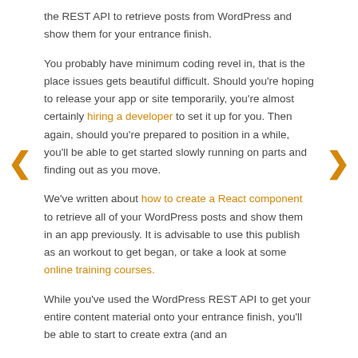the REST API to retrieve posts from WordPress and show them for your entrance finish.
You probably have minimum coding revel in, that is the place issues gets beautiful difficult. Should you're hoping to release your app or site temporarily, you're almost certainly hiring a developer to set it up for you. Then again, should you're prepared to position in a while, you'll be able to get started slowly running on parts and finding out as you move.
We've written about how to create a React component to retrieve all of your WordPress posts and show them in an app previously. It is advisable to use this publish as an workout to get began, or take a look at some online training courses.
While you've used the WordPress REST API to get your entire content material onto your entrance finish, you'll be able to start to create extra (and an